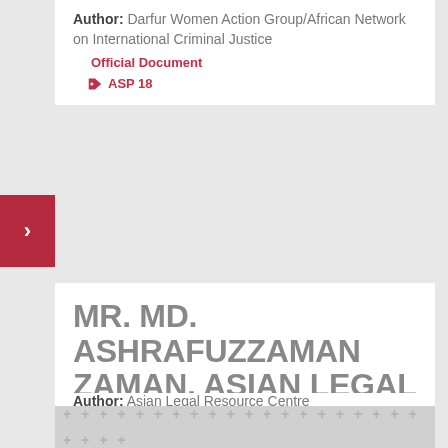Author: Darfur Women Action Group/African Network on International Criminal Justice
Official Document
ASP 18
MR. MD. ASHRAFUZZAMAN ZAMAN, ASIAN LEGAL RESOURCE CENTRE
Author: Asian Legal Resource Centre
Official Document
ASP 18